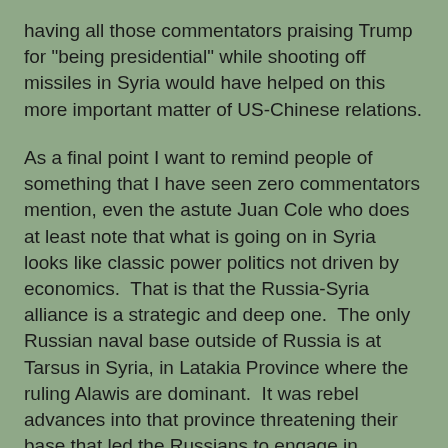having all those commentators praising Trump for "being presidential" while shooting off missiles in Syria would have helped on this more important matter of US-Chinese relations.
As a final point I want to remind people of something that I have seen zero commentators mention, even the astute Juan Cole who does at least note that what is going on in Syria looks like classic power politics not driven by economics.  That is that the Russia-Syria alliance is a strategic and deep one.  The only Russian naval base outside of Russia is at Tarsus in Syria, in Latakia Province where the ruling Alawis are dominant.  It was rebel advances into that province threatening their base that led the Russians to engage in massive bombing raids to support the Assad government, and Cole does note that not using chemical weapons (which the Syrians were supposed to have gotten rid of) will mean they will bomb a lot instead, and horrible as chem weapons are, thousands of children were killed in the bombing in Aleppo. In any case, that naval base has been there since 1971 in Soviet times.  This is a deep strategic relationship, and this must be kept in mind